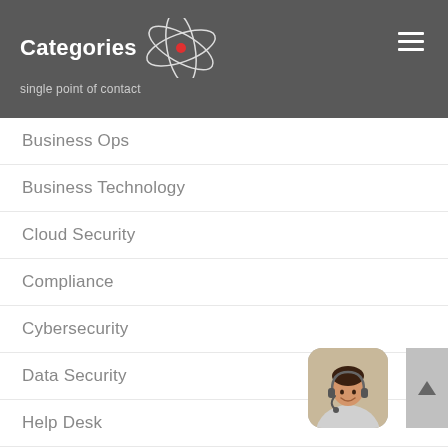Categories — single point of contact
Business Ops
Business Technology
Cloud Security
Compliance
Cybersecurity
Data Security
Help Desk
IT Security
IT Support Service
Managed IT
Network
[Figure (photo): Woman wearing a headset, smiling, customer support representative]